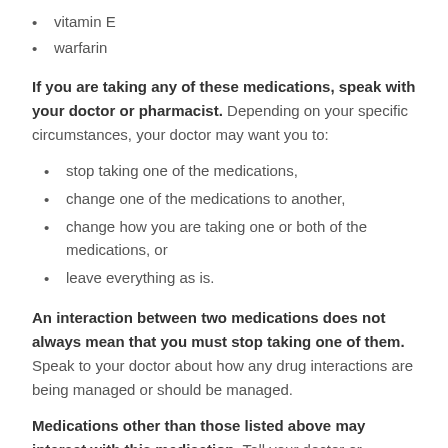vitamin E
warfarin
If you are taking any of these medications, speak with your doctor or pharmacist. Depending on your specific circumstances, your doctor may want you to:
stop taking one of the medications,
change one of the medications to another,
change how you are taking one or both of the medications, or
leave everything as is.
An interaction between two medications does not always mean that you must stop taking one of them. Speak to your doctor about how any drug interactions are being managed or should be managed.
Medications other than those listed above may interact with this medication. Tell your doctor or prescriber about all